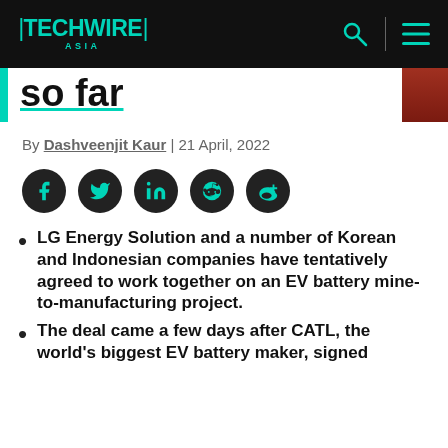TECHWIRE ASIA
so far
By Dashveenjit Kaur | 21 April, 2022
[Figure (other): Social sharing icons: Facebook, Twitter, LinkedIn, Reddit, Weibo]
LG Energy Solution and a number of Korean and Indonesian companies have tentatively agreed to work together on an EV battery mine-to-manufacturing project.
The deal came a few days after CATL, the world's biggest EV battery maker, signed